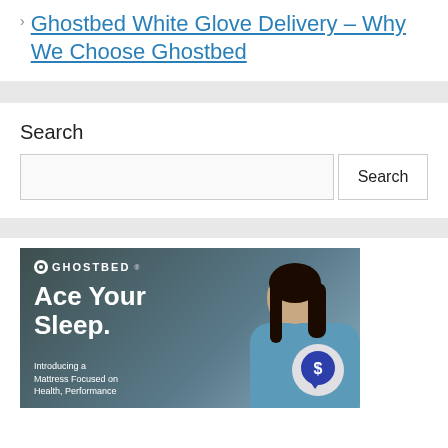Ghostbed White Glove Delivery – Why We Choose Ghostbed
Search
[Figure (screenshot): GhostBed advertisement banner showing a woman in blue and the text 'Ace Your Sleep. Introducing a Mattress Focused on Health, Performance' with a dollar sign chat bubble icon in the bottom right.]